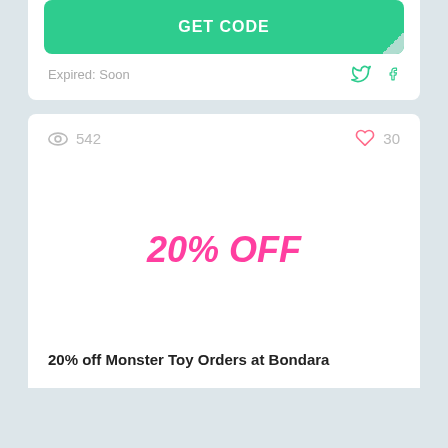GET CODE
Expired: Soon
542
30
20% OFF
20% off Monster Toy Orders at Bondara